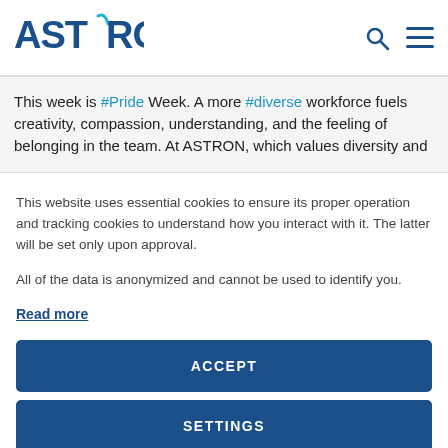ASTRON
This week is #Pride Week. A more #diverse workforce fuels creativity, compassion, understanding, and the feeling of belonging in the team. At ASTRON, which values diversity and...
This website uses essential cookies to ensure its proper operation and tracking cookies to understand how you interact with it. The latter will be set only upon approval.

All of the data is anonymized and cannot be used to identify you.
Read more
ACCEPT
SETTINGS